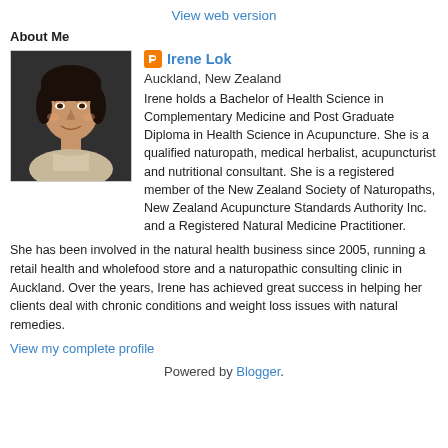View web version
About Me
[Figure (photo): Profile photo of Irene Lok, a woman with short dark hair, wearing a light-colored top, photographed against a dark background.]
Irene Lok
Auckland, New Zealand
Irene holds a Bachelor of Health Science in Complementary Medicine and Post Graduate Diploma in Health Science in Acupuncture. She is a qualified naturopath, medical herbalist, acupuncturist and nutritional consultant. She is a registered member of the New Zealand Society of Naturopaths, New Zealand Acupuncture Standards Authority Inc. and a Registered Natural Medicine Practitioner.
She has been involved in the natural health business since 2005, running a retail health and wholefood store and a naturopathic consulting clinic in Auckland. Over the years, Irene has achieved great success in helping her clients deal with chronic conditions and weight loss issues with natural remedies.
View my complete profile
Powered by Blogger.